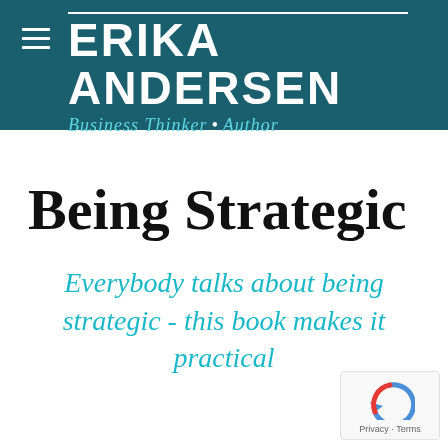[Figure (logo): Erika Andersen website header with dark teal background, hamburger menu icon, 'ERIKA ANDERSEN' in large white bold uppercase text, decorative white horizontal line, and italic teal subtitle 'Business Thinker • Author']
Being Strategic
Everybody talks about being strategic - this book makes it practical
[Figure (other): Google reCAPTCHA badge showing circular arrow logo with 'Privacy - Terms' text below]